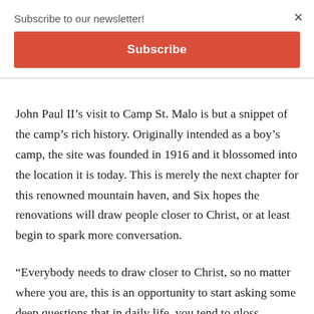Subscribe to our newsletter!
Subscribe
×
John Paul II's visit to Camp St. Malo is but a snippet of the camp's rich history. Originally intended as a boy's camp, the site was founded in 1916 and it blossomed into the location it is today. This is merely the next chapter for this renowned mountain haven, and Six hopes the renovations will draw people closer to Christ, or at least begin to spark more conversation.
“Everybody needs to draw closer to Christ, so no matter where you are, this is an opportunity to start asking some deep questions that in daily life, you tend to gloss